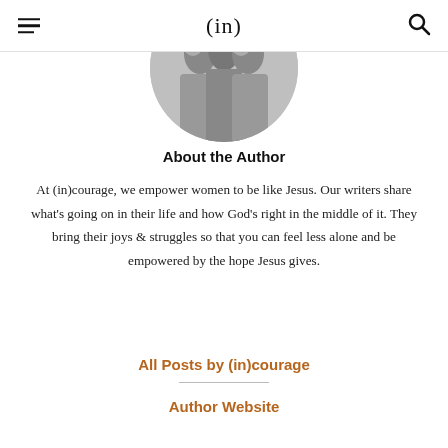(in)
[Figure (photo): Circular cropped black-and-white photo of a group of women standing together]
About the Author
At (in)courage, we empower women to be like Jesus. Our writers share what's going on in their life and how God's right in the middle of it. They bring their joys & struggles so that you can feel less alone and be empowered by the hope Jesus gives.
All Posts by (in)courage
Author Website